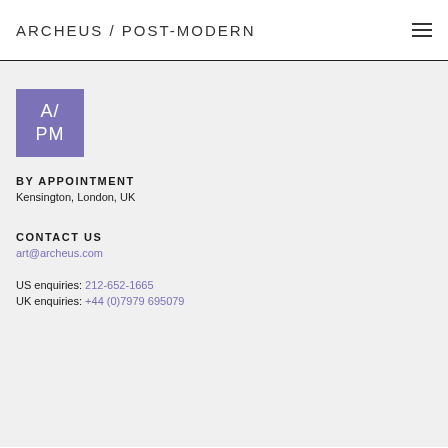ARCHEUS / POST-MODERN
[Figure (logo): Purple square logo with white text 'A/ PM']
BY APPOINTMENT
Kensington, London, UK
CONTACT US
art@archeus.com
US enquiries: 212-652-1665
UK enquiries: +44 (0)7979 695079